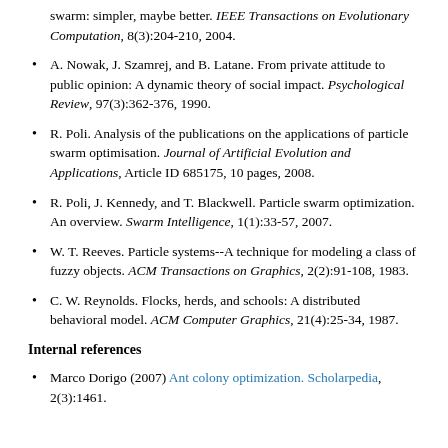swarm: simpler, maybe better. IEEE Transactions on Evolutionary Computation, 8(3):204-210, 2004.
A. Nowak, J. Szamrej, and B. Latane. From private attitude to public opinion: A dynamic theory of social impact. Psychological Review, 97(3):362-376, 1990.
R. Poli. Analysis of the publications on the applications of particle swarm optimisation. Journal of Artificial Evolution and Applications, Article ID 685175, 10 pages, 2008.
R. Poli, J. Kennedy, and T. Blackwell. Particle swarm optimization. An overview. Swarm Intelligence, 1(1):33-57, 2007.
W. T. Reeves. Particle systems--A technique for modeling a class of fuzzy objects. ACM Transactions on Graphics, 2(2):91-108, 1983.
C. W. Reynolds. Flocks, herds, and schools: A distributed behavioral model. ACM Computer Graphics, 21(4):25-34, 1987.
Internal references
Marco Dorigo (2007) Ant colony optimization. Scholarpedia, 2(3):1461.